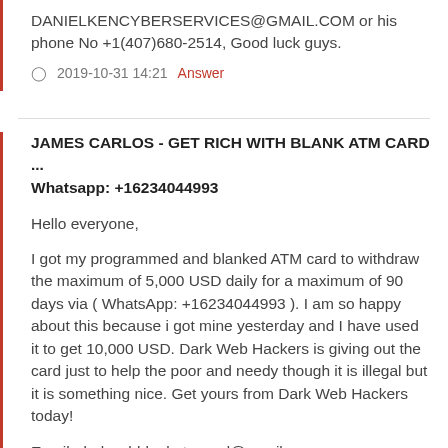DANIELKENCYBERSERVICES@GMAIL.COM or his phone No +1(407)680-2514, Good luck guys.
2019-10-31 14:21   Answer
JAMES CARLOS - GET RICH WITH BLANK ATM CARD ... Whatsapp: +16234044993
Hello everyone,
I got my programmed and blanked ATM card to withdraw the maximum of 5,000 USD daily for a maximum of 90 days via ( WhatsApp: +16234044993 ). I am so happy about this because i got mine yesterday and I have used it to get 10,000 USD. Dark Web Hackers is giving out the card just to help the poor and needy though it is illegal but it is something nice. Get yours from Dark Web Hackers today!
Email: darkwebblankatmcard@gmail.com
Text or Call or WhatsApp: +16234044993
Website: darkwebblankatmcards.webs.com